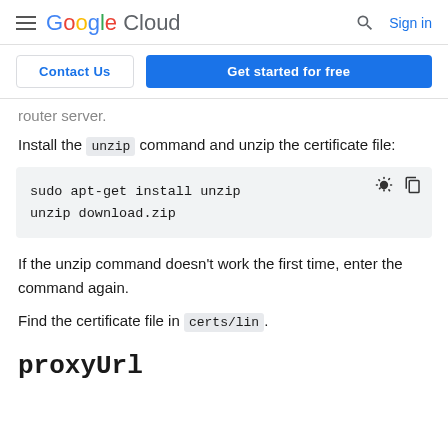Google Cloud | Sign in
Contact Us | Get started for free
router server.
Install the unzip command and unzip the certificate file:
sudo apt-get install unzip
unzip download.zip
If the unzip command doesn't work the first time, enter the command again.
Find the certificate file in certs/lin.
proxyUrl